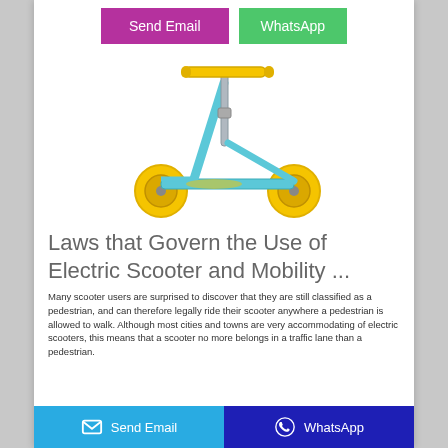[Figure (other): Two buttons at top: 'Send Email' (purple/magenta) and 'WhatsApp' (green)]
[Figure (photo): A yellow and blue/teal kick scooter with yellow wheels on a white background]
Laws that Govern the Use of Electric Scooter and Mobility ...
Many scooter users are surprised to discover that they are still classified as a pedestrian, and can therefore legally ride their scooter anywhere a pedestrian is allowed to walk. Although most cities and towns are very accommodating of electric scooters, this means that a scooter no more belongs in a traffic lane than a pedestrian.
[Figure (other): Bottom bar with two buttons: 'Send Email' (cyan/blue) on left with envelope icon, 'WhatsApp' (dark blue) on right with WhatsApp icon]